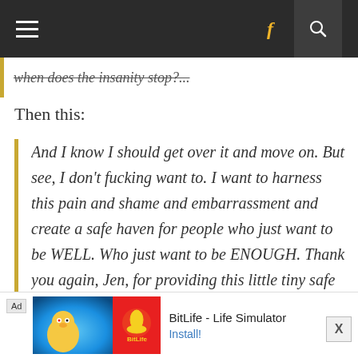Navigation bar with menu, Facebook icon, and search
Then this:
And I know I should get over it and move on. But see, I don't fucking want to. I want to harness this pain and shame and embarrassment and create a safe haven for people who just want to be WELL. Who just want to be ENOUGH. Thank you again, Jen, for providing this little tiny safe haven in this big bad ugly world. It's so hard to do all of this
[Figure (screenshot): Ad banner for BitLife - Life Simulator app with Install button]